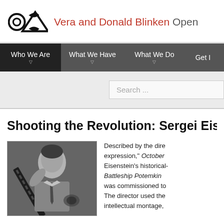[Figure (logo): OCSA logo with circular and triangular symbols]
Vera and Donald Blinken Open
Who We Are | What We Have | What We Do | Get I
Search ...
Shooting the Revolution: Sergei Eisen
[Figure (photo): Black and white photo of Sergei Eisenstein holding film strip]
Described by the dire expression," October Eisenstein's historical- Battleship Potemkin was commissioned to The director used the intellectual montage,